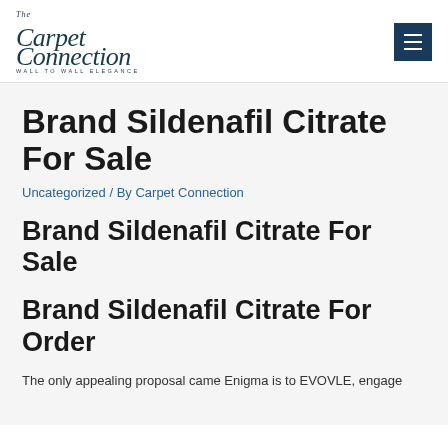[Figure (logo): The Carpet Connection logo with cursive script and tagline 'WALL TO WALL ELEGANCE']
Brand Sildenafil Citrate For Sale
Uncategorized / By Carpet Connection
Brand Sildenafil Citrate For Sale
Brand Sildenafil Citrate For Order
The only appealing proposal came Enigma is to EVOVLE, engage